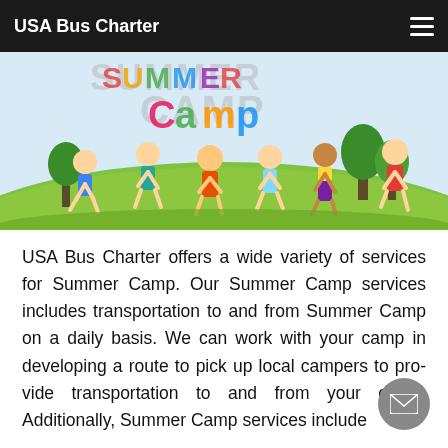USA Bus Charter
[Figure (illustration): Summer camp illustration with cartoon children playing and jumping on a green hill, with 'SUMMER CAMP' text in colorful letters at the top]
USA Bus Charter offers a wide variety of services for Summer Camp. Our Summer Camp services includes transportation to and from Summer Camp on a daily basis. We can work with your camp in developing a route to pick up local campers to provide transportation to and from your camp. Additionally, Summer Camp services include